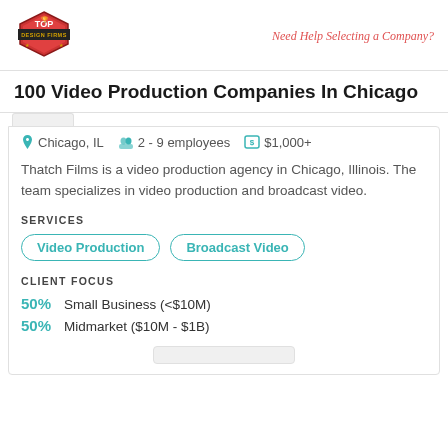[Figure (logo): Top Design Firms hexagon badge logo in red/orange]
Need Help Selecting a Company?
100 Video Production Companies In Chicago
Chicago, IL   2 - 9 employees   $1,000+
Thatch Films is a video production agency in Chicago, Illinois. The team specializes in video production and broadcast video.
SERVICES
Video Production
Broadcast Video
CLIENT FOCUS
50% Small Business (<$10M)
50% Midmarket ($10M - $1B)